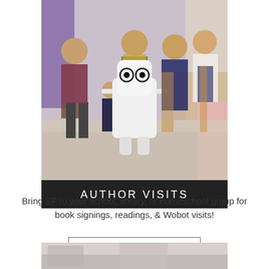[Figure (photo): Group photo of four women and a child posing with a white Wobot character mascot at what appears to be a school or library event. The group is smiling and holding the plush/costume character.]
AUTHOR VISITS
Bring SF to your school, library, or homeschool group for book signings, readings, & Wobot visits!
LEARN MORE
[Figure (photo): Partial bottom photo, cropped, showing another scene likely related to author visits.]